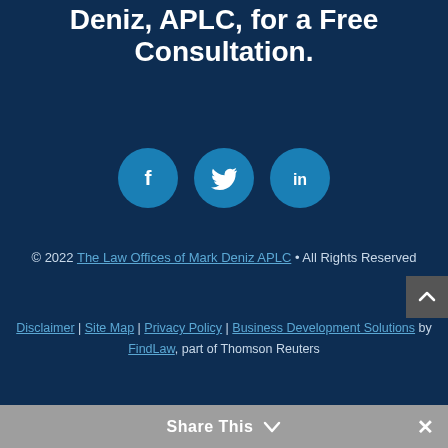Deniz, APLC, for a Free Consultation.
[Figure (illustration): Three circular social media icons: Facebook (f), Twitter (bird), LinkedIn (in), styled in teal/blue on dark navy background]
© 2022 The Law Offices of Mark Deniz APLC • All Rights Reserved
Disclaimer | Site Map | Privacy Policy | Business Development Solutions by FindLaw, part of Thomson Reuters
Share This ∨  ×